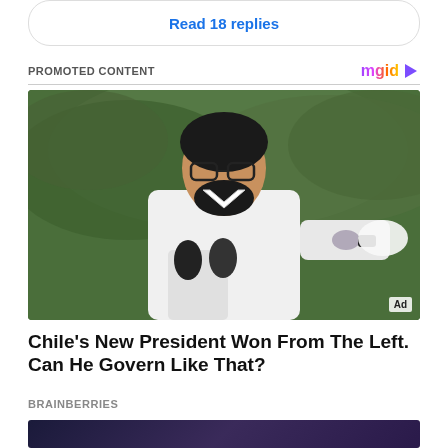Read 18 replies
PROMOTED CONTENT
[Figure (photo): Man in white shirt with glasses and beard, adjusting sleeve/cloth near microphones, with green foliage in background. Ad badge in bottom right.]
Chile's New President Won From The Left. Can He Govern Like That?
BRAINBERRIES
[Figure (photo): Partial second article image, dark purple/space background, bottom of page.]